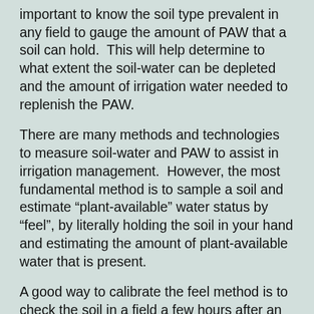important to know the soil type prevalent in any field to gauge the amount of PAW that a soil can hold.  This will help determine to what extent the soil-water can be depleted and the amount of irrigation water needed to replenish the PAW.
There are many methods and technologies to measure soil-water and PAW to assist in irrigation management.  However, the most fundamental method is to sample a soil and estimate “plant-available” water status by “feel”, by literally holding the soil in your hand and estimating the amount of plant-available water that is present.
A good way to calibrate the feel method is to check the soil in a field a few hours after an irrigation event when the GW has drained away and the soil is at FC.  The next critical point to identify by the feel method is the soil-water content just before the plants begin to show any sign of